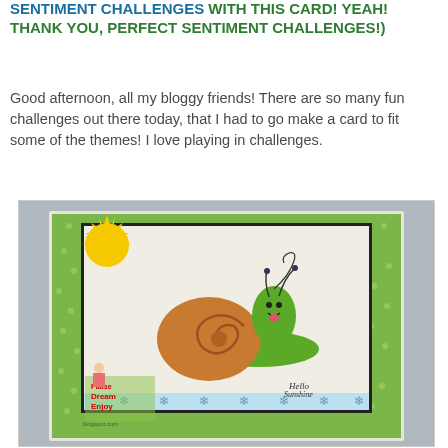SENTIMENT CHALLENGES WITH THIS CARD! YEAH! THANK YOU, PERFECT SENTIMENT CHALLENGES!)
Good afternoon, all my bloggy friends! There are so many fun challenges out there today, that I had to go make a card to fit some of the themes! I love playing in challenges.
[Figure (photo): A handmade greeting card featuring a happy cartoon snail with a brown shell and green body, a yellow sun die-cut in the top left corner, green polka-dot patterned paper border, blue snowflake embossed strip at the bottom, and text reading 'Pause Dream Enjoy' with a small girl figure sticker. The card says 'Hello Sunshine' in the lower right. A watermark reads 'blogspot.com'.]